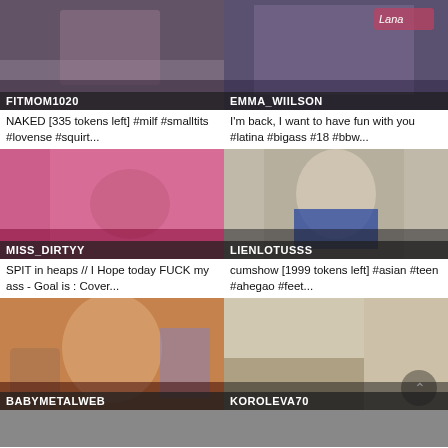[Figure (screenshot): Webcam thumbnail of FITMOM1020]
NAKED [335 tokens left] #milf #smalltits #lovense #squirt...
[Figure (screenshot): Webcam thumbnail of EMMA_WIILSON]
I'm back, I want to have fun with you #latina #bigass #18 #bbw...
[Figure (screenshot): Webcam thumbnail of MISS_DIRTYY]
SPIT in heaps // I Hope today FUCK my ass - Goal is : Cover...
[Figure (screenshot): Webcam thumbnail of LIENLOTUSSS]
cumshow [1999 tokens left] #asian #teen #ahegao #feet...
[Figure (screenshot): Webcam thumbnail of BABYMETALWEB]
[Figure (screenshot): Webcam thumbnail of KOROLEVA70]